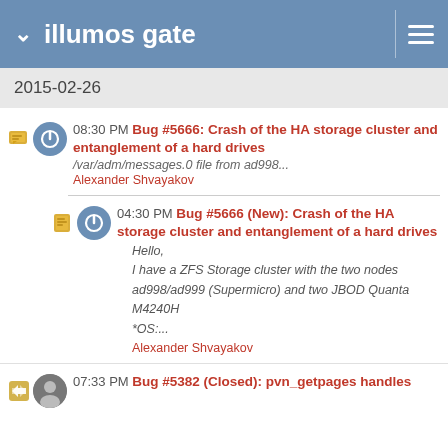illumos gate
2015-02-26
08:30 PM Bug #5666: Crash of the HA storage cluster and entanglement of a hard drives
/var/adm/messages.0 file from ad998...
Alexander Shvayakov
04:30 PM Bug #5666 (New): Crash of the HA storage cluster and entanglement of a hard drives
Hello,
I have a ZFS Storage cluster with the two nodes ad998/ad999 (Supermicro) and two JBOD Quanta M4240H
*OS:...
Alexander Shvayakov
07:33 PM Bug #5382 (Closed): pvn_getpages handles